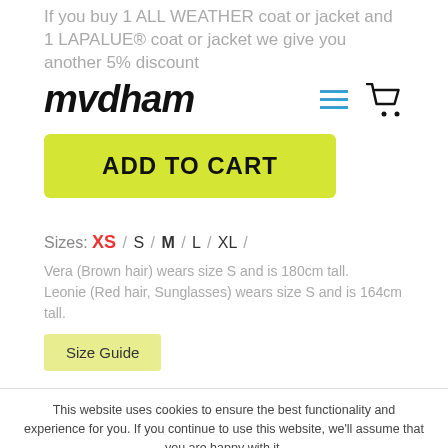If you buy 1 ALL WEATHER coat or jacket and 1 LAPALUE® coat or jacket we give you another 5% discount
mvdham
ADD TO CART
Sizes: XS / S / M / L / XL /
Vera (Brown hair) wears size S and is 180cm tall. Leonie (Red hair, Sunglasses) wears size S and is 164cm tall.
Size Guide
This website uses cookies to ensure the best functionality and experience for you. If you continue to use this website, we'll assume that you are happy with it.
OKAY
PRIVACY POLICY